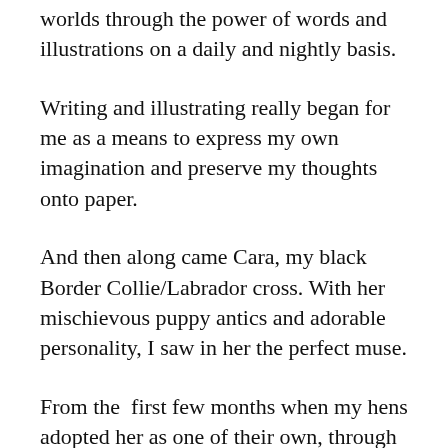worlds through the power of words and illustrations on a daily and nightly basis.
Writing and illustrating really began for me as a means to express my own imagination and preserve my thoughts onto paper.
And then along came Cara, my black Border Collie/Labrador cross. With her mischievous puppy antics and adorable personality, I saw in her the perfect muse.
From the  first few months when my hens adopted her as one of their own, through our travels around Ireland, to her current role as a Therapy Dog, she never ceases to provide inspiration for my work!